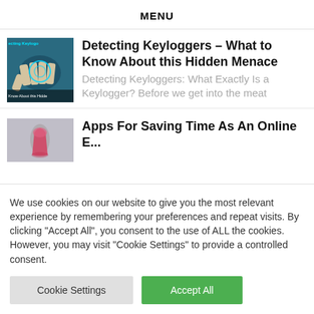MENU
[Figure (photo): Thumbnail image for keylogger article showing hands on keyboard with overlay text 'ecting Keyloggers' and 'Know About this Hidde']
Detecting Keyloggers – What to Know About this Hidden Menace
Detecting Keyloggers: What Exactly Is a Keylogger? Before we get into the meat
[Figure (photo): Thumbnail image showing a wine glass with red liquid]
Apps For Saving Time As An Online E...
We use cookies on our website to give you the most relevant experience by remembering your preferences and repeat visits. By clicking "Accept All", you consent to the use of ALL the cookies. However, you may visit "Cookie Settings" to provide a controlled consent.